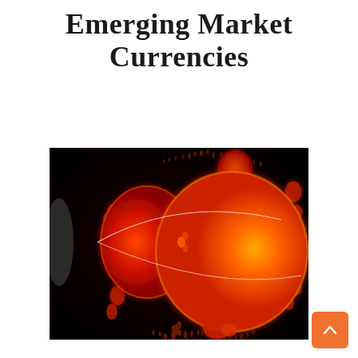Emerging Market Currencies
[Figure (illustration): Abstract fractal visualization on a black background showing orange and red glowing bulbous shapes resembling a Mandelbrot set, with smaller satellite structures and fine branching tendrils radiating outward. A large orange sphere dominates the right, a smaller red ellipse on the left, with thin white arc lines crossing the image.]